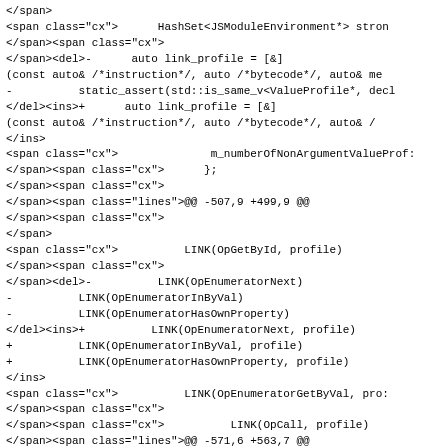Source code diff showing XML/HTML markup with del and ins tags indicating changes to C++ code, including link_profile lambda function modifications and LINK macro additions for OpEnumeratorNext, OpEnumeratorInByVal, OpEnumeratorHasOwnProperty, OpEnumeratorGetByVal, OpCall, and RELEASE_ASSERT changes at diff hunks -507,9 +499,9 and -571,6 +563,7.